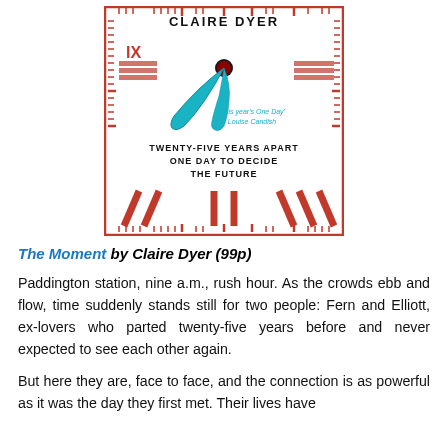[Figure (illustration): Book cover of 'The Moment' by Claire Dyer. Features a clock face with red Roman numerals and a teal/blue figure in the center. Text on cover: 'CLAIRE DYER', 'This year's One Day Louise Candish', 'TWENTY-FIVE YEARS APART ONE DAY TO DECIDE THE FUTURE'.]
The Moment by Claire Dyer (99p)
Paddington station, nine a.m., rush hour. As the crowds ebb and flow, time suddenly stands still for two people: Fern and Elliott, ex-lovers who parted twenty-five years before and never expected to see each other again.
But here they are, face to face, and the connection is as powerful as it was the day they first met. Their lives have